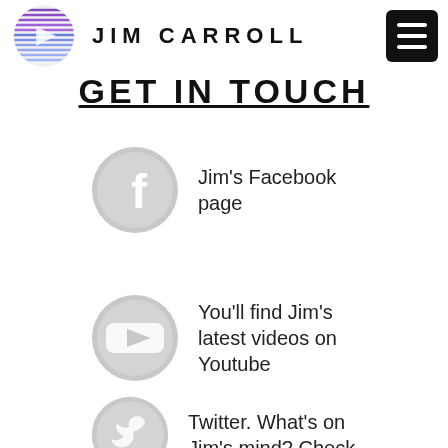JIM CARROLL
GET IN TOUCH
Jim's Facebook page
You'll find Jim's latest videos on Youtube
Twitter. What's on Jim's mind? Check